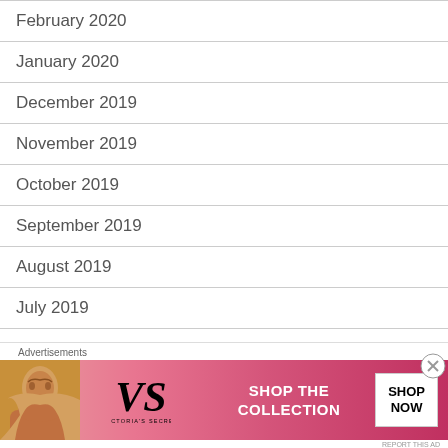February 2020
January 2020
December 2019
November 2019
October 2019
September 2019
August 2019
July 2019
June 2019
May 2019
[Figure (screenshot): Victoria's Secret advertisement banner with model, logo, SHOP THE COLLECTION text, and SHOP NOW button]
Advertisements